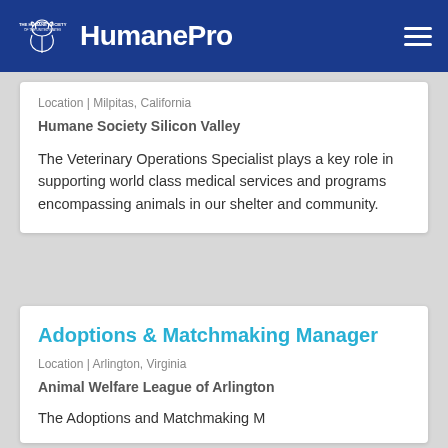HumanePro
Location | Milpitas, California
Humane Society Silicon Valley
The Veterinary Operations Specialist plays a key role in supporting world class medical services and programs encompassing animals in our shelter and community.
Adoptions & Matchmaking Manager
Location | Arlington, Virginia
Animal Welfare League of Arlington
The Adoptions and Matchmaking M...